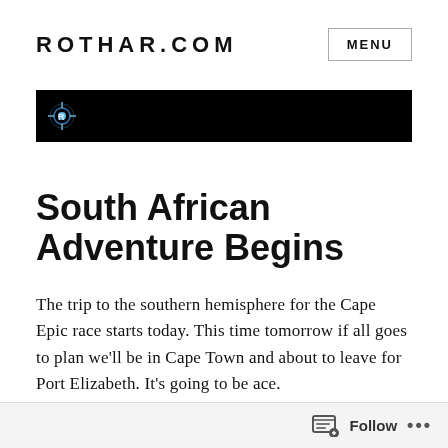ROTHAR.COM
[Figure (photo): Dark banner image with a small illuminated logo/icon on the left against a black background]
South African Adventure Begins
The trip to the southern hemisphere for the Cape Epic race starts today. This time tomorrow if all goes to plan we'll be in Cape Town and about to leave for Port Elizabeth. It's going to be ace.
Follow ...